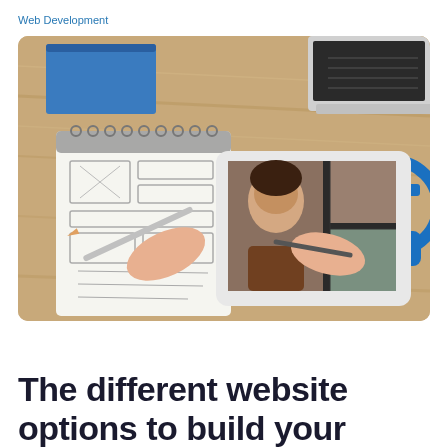Web Development
[Figure (photo): Overhead view of a person sketching website wireframes on a notepad and using a stylus on a tablet, on a wooden desk with a laptop and blue headphones in the background.]
The different website options to build your